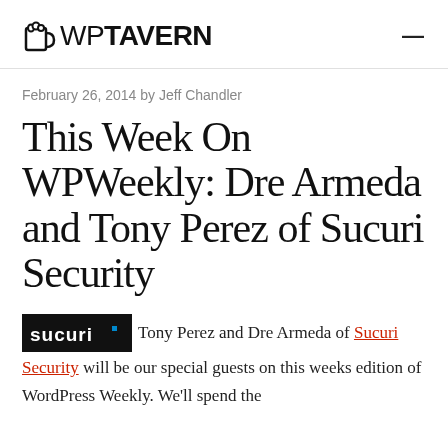WP TAVERN
February 26, 2014 by Jeff Chandler
This Week On WPWeekly: Dre Armeda and Tony Perez of Sucuri Security
Tony Perez and Dre Armeda of Sucuri Security will be our special guests on this weeks edition of WordPress Weekly. We'll spend the